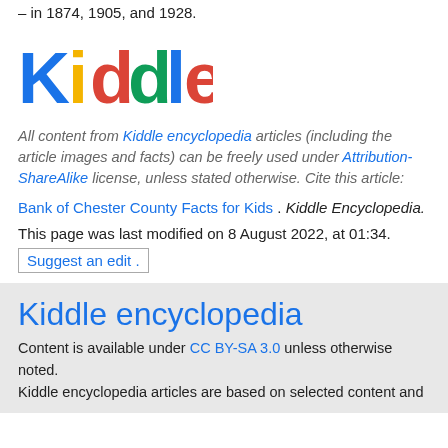– in 1874, 1905, and 1928.
[Figure (logo): Kiddle colorful logo with blue K, yellow i, red d, green d, blue l, orange e]
All content from Kiddle encyclopedia articles (including the article images and facts) can be freely used under Attribution-ShareAlike license, unless stated otherwise. Cite this article:
Bank of Chester County Facts for Kids. Kiddle Encyclopedia.
This page was last modified on 8 August 2022, at 01:34.
Suggest an edit .
Kiddle encyclopedia
Content is available under CC BY-SA 3.0 unless otherwise noted. Kiddle encyclopedia articles are based on selected content and